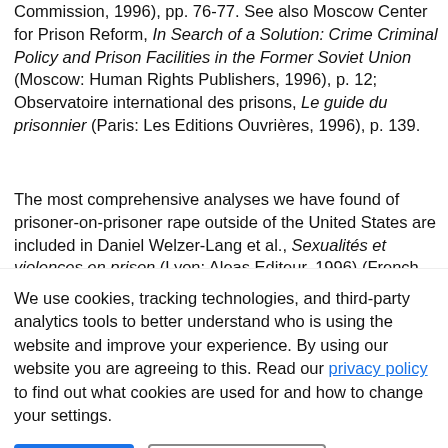Commission, 1996), pp. 76-77. See also Moscow Center for Prison Reform, In Search of a Solution: Crime Criminal Policy and Prison Facilities in the Former Soviet Union (Moscow: Human Rights Publishers, 1996), p. 12; Observatoire international des prisons, Le guide du prisonnier (Paris: Les Editions Ouvrières, 1996), p. 139.
The most comprehensive analyses we have found of prisoner-on-prisoner rape outside of the United States are included in Daniel Welzer-Lang et al., Sexualités et violences en prison (Lyon: Aleas Editeur, 1996) (French prisons), and David Heilpern, Fear or Favour--Sexual Assault on Young Prisoners (New South Wales: Southern Cross University Press, 1998) (concluding that one in four
We use cookies, tracking technologies, and third-party analytics tools to better understand who is using the website and improve your experience. By using our website you are agreeing to this. Read our privacy policy to find out what cookies are used for and how to change your settings.